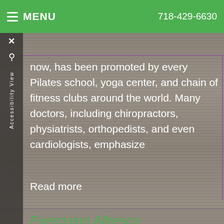MENU   718-429-6630
now, has been promoted by every Pilates school, yoga center, and chain of fitness clubs around the world. Many doctors, including chiropractors, physiatrists, orthopedists, and even cardiologists, emphasize
Read more
Exercising Alfresco
Category: Newsletter Library, Exercise & Fitness
In "The Producers", the riotous Mel Brooks movie classic from 1968, the wily and almost washed-up Broadway producer Max Bialystock (played famously